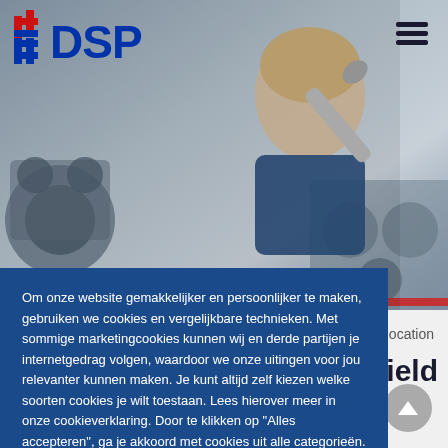[Figure (screenshot): DSP website header with mechanic holding a wrench in the background, blue and red DSP logo top left, hamburger menu top right]
cian on location
n field
m
[Figure (infographic): Cookie consent overlay on a blue background with Dutch text about cookies and two buttons: Cookie Settings and Accepteren]
Om onze website gemakkelijker en persoonlijker te maken, gebruiken we cookies en vergelijkbare technieken. Met sommige marketingcookies kunnen wij en derde partijen je internetgedrag volgen, waardoor we onze uitingen voor jou relevanter kunnen maken. Je kunt altijd zelf kiezen welke soorten cookies je wilt toestaan. Lees hierover meer in onze cookieverklaring. Door te klikken op "Alles accepteren", ga je akkoord met cookies uit alle categorieën.
Cookie Settings
Accepteren